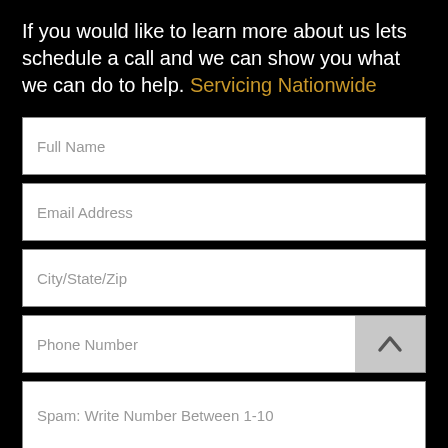If you would like to learn more about us lets schedule a call and we can show you what we can do to help. Servicing Nationwide
Full Name
Email Address
City/State/Zip
Phone Number
Spam: Write Number Between 1-10